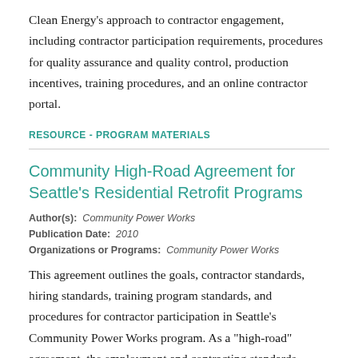Clean Energy's approach to contractor engagement, including contractor participation requirements, procedures for quality assurance and quality control, production incentives, training procedures, and an online contractor portal.
RESOURCE - PROGRAM MATERIALS
Community High-Road Agreement for Seattle's Residential Retrofit Programs
Author(s): Community Power Works
Publication Date: 2010
Organizations or Programs: Community Power Works
This agreement outlines the goals, contractor standards, hiring standards, training program standards, and procedures for contractor participation in Seattle's Community Power Works program. As a "high-road" agreement, the employment and contracting standards are designed to ensure proper operation.